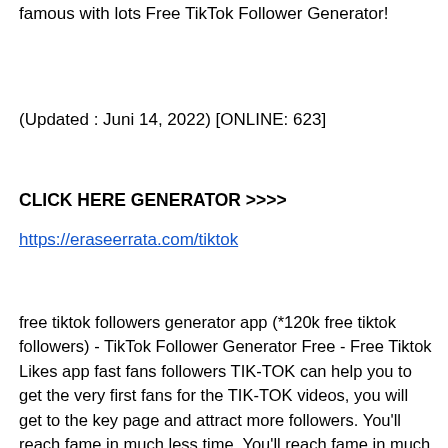famous with lots Free TikTok Follower Generator!
(Updated : Juni 14, 2022) [ONLINE: 623]
CLICK HERE GENERATOR >>>>
https://eraseerrata.com/tiktok
free tiktok followers generator app (*120k free tiktok followers) - TikTok Follower Generator Free - Free Tiktok Likes app fast fans followers TIK-TOK can help you to get the very first fans for the TIK-TOK videos, you will get to the key page and attract more followers. You'll reach fame in much less time. You'll reach fame in much less time. Don't spend your time and start being typically the most popular TIK-TOK!Using